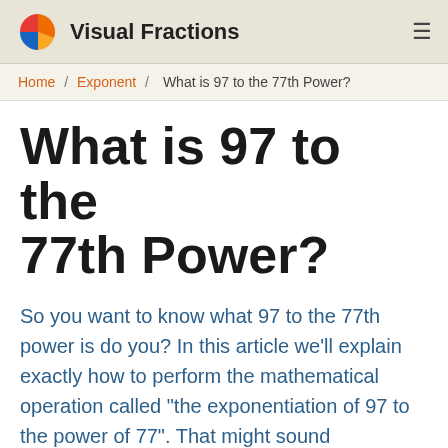Visual Fractions
Home / Exponent / What is 97 to the 77th Power?
What is 97 to the 77th Power?
So you want to know what 97 to the 77th power is do you? In this article we'll explain exactly how to perform the mathematical operation called "the exponentiation of 97 to the power of 77". That might sound fancy, but we'll explain this with no jargon!